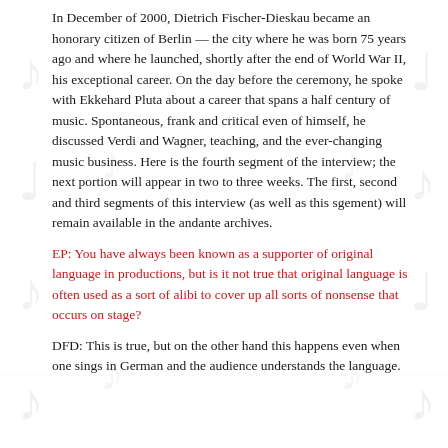In December of 2000, Dietrich Fischer-Dieskau became an honorary citizen of Berlin — the city where he was born 75 years ago and where he launched, shortly after the end of World War II, his exceptional career. On the day before the ceremony, he spoke with Ekkehard Pluta about a career that spans a half century of music. Spontaneous, frank and critical even of himself, he discussed Verdi and Wagner, teaching, and the ever-changing music business. Here is the fourth segment of the interview; the next portion will appear in two to three weeks. The first, second and third segments of this interview (as well as this sgement) will remain available in the andante archives.
EP: You have always been known as a supporter of original language in productions, but is it not true that original language is often used as a sort of alibi to cover up all sorts of nonsense that occurs on stage?
DFD: This is true, but on the other hand this happens even when one sings in German and the audience understands the language.